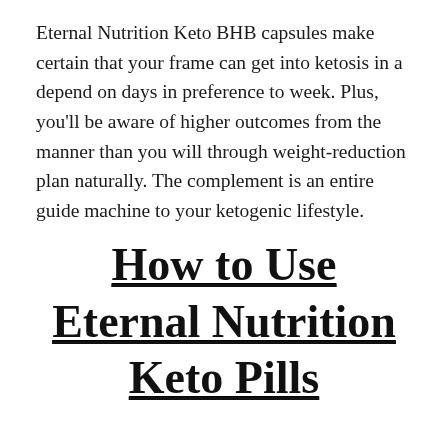Eternal Nutrition Keto BHB capsules make certain that your frame can get into ketosis in a depend on days in preference to week. Plus, you'll be aware of higher outcomes from the manner than you will through weight-reduction plan naturally. The complement is an entire guide machine to your ketogenic lifestyle.
How to Use Eternal Nutrition Keto Pills